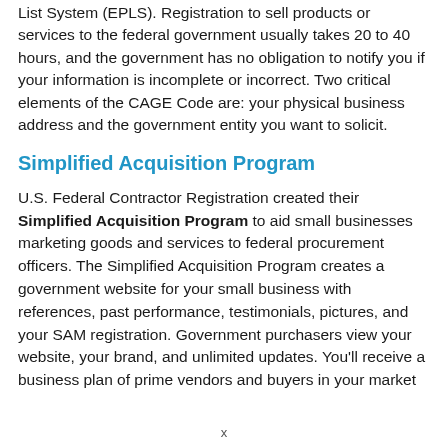List System (EPLS). Registration to sell products or services to the federal government usually takes 20 to 40 hours, and the government has no obligation to notify you if your information is incomplete or incorrect. Two critical elements of the CAGE Code are: your physical business address and the government entity you want to solicit.
Simplified Acquisition Program
U.S. Federal Contractor Registration created their Simplified Acquisition Program to aid small businesses marketing goods and services to federal procurement officers. The Simplified Acquisition Program creates a government website for your small business with references, past performance, testimonials, pictures, and your SAM registration. Government purchasers view your website, your brand, and unlimited updates. You'll receive a business plan of prime vendors and buyers in your market
x